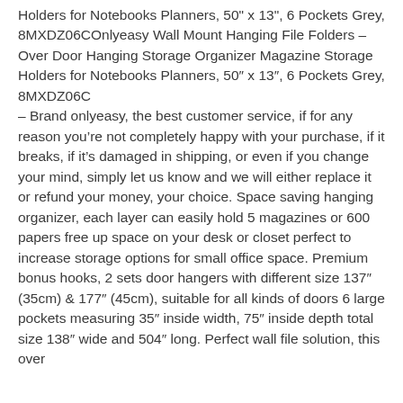Holders for Notebooks Planners, 50" x 13", 6 Pockets Grey, 8MXDZ06COnlyeasy Wall Mount Hanging File Folders – Over Door Hanging Storage Organizer Magazine Storage Holders for Notebooks Planners, 50″ x 13″, 6 Pockets Grey, 8MXDZ06C – Brand onlyeasy, the best customer service, if for any reason you're not completely happy with your purchase, if it breaks, if it's damaged in shipping, or even if you change your mind, simply let us know and we will either replace it or refund your money, your choice. Space saving hanging organizer, each layer can easily hold 5 magazines or 600 papers free up space on your desk or closet perfect to increase storage options for small office space. Premium bonus hooks, 2 sets door hangers with different size 137″ (35cm) & 177″ (45cm), suitable for all kinds of doors 6 large pockets measuring 35″ inside width, 75″ inside depth total size 138″ wide and 504″ long. Perfect wall file solution, this over